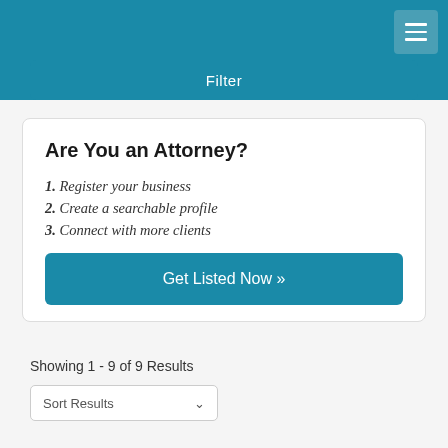Filter
Are You an Attorney?
1. Register your business
2. Create a searchable profile
3. Connect with more clients
Get Listed Now »
Showing 1 - 9 of 9 Results
Sort Results